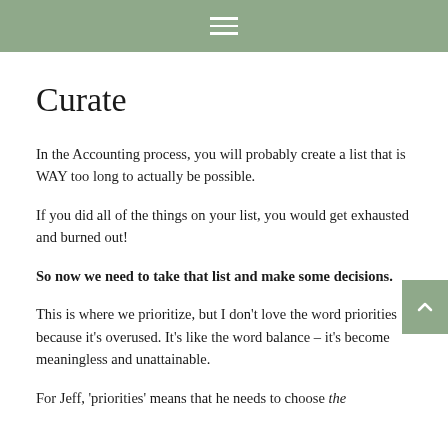≡
Curate
In the Accounting process, you will probably create a list that is WAY too long to actually be possible.
If you did all of the things on your list, you would get exhausted and burned out!
So now we need to take that list and make some decisions.
This is where we prioritize, but I don't love the word priorities because it's overused. It's like the word balance – it's become meaningless and unattainable.
For Jeff, 'priorities' means that he needs to choose the